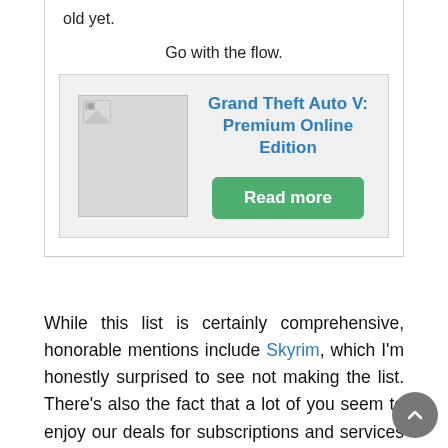old yet.
Go with the flow.
[Figure (other): Product card for Grand Theft Auto V: Premium Online Edition with a placeholder image and a green Read more button]
While this list is certainly comprehensive, honorable mentions include Skyrim, which I'm honestly surprised to see not making the list. There's also the fact that a lot of you seem to enjoy our deals for subscriptions and services that provide a constant stream of games. But of course I couldn't include those on the list, because well, they're not games.